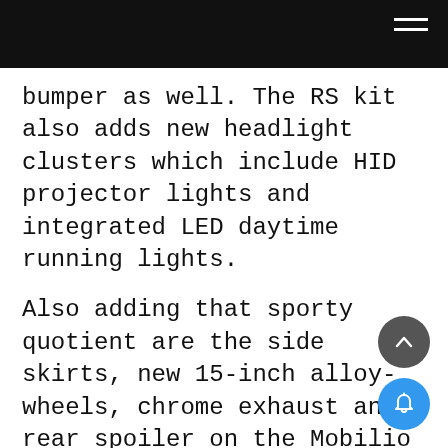bumper as well. The RS kit also adds new headlight clusters which include HID projector lights and integrated LED daytime running lights.
Also adding that sporty quotient are the side skirts, new 15-inch alloy-wheels, chrome exhaust and a rear spoiler on the Mobilio RS. You also get ORVMs with integrated turn indicators and brush-silver finished roof rails, which are missing on the regular Mobilio. On the inside, the RS version comes with faux wood garnish running across the instrument cluster and the centre console and the door trims, faux leather